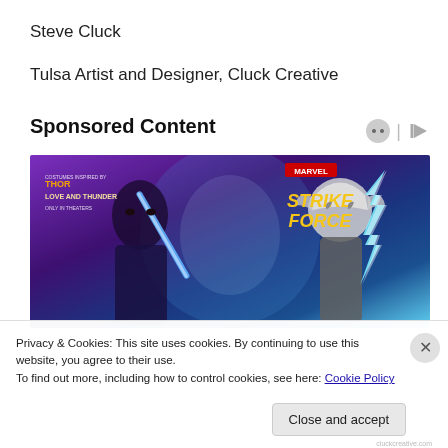Steve Cluck
Tulsa Artist and Designer, Cluck Creative
Sponsored Content
[Figure (illustration): Marvel Strike Force promotional image showing two superhero characters — a woman with a blue sword and Thor (Jane Foster) with lightning hammer — against a purple and teal background. Text reads: COSTUMES INSPIRED BY MARVEL THOR LOVE AND THUNDER ONLY IN THEATERS and MARVEL STRIKE FORCE logo.]
Privacy & Cookies: This site uses cookies. By continuing to use this website, you agree to their use.
To find out more, including how to control cookies, see here: Cookie Policy
Close and accept